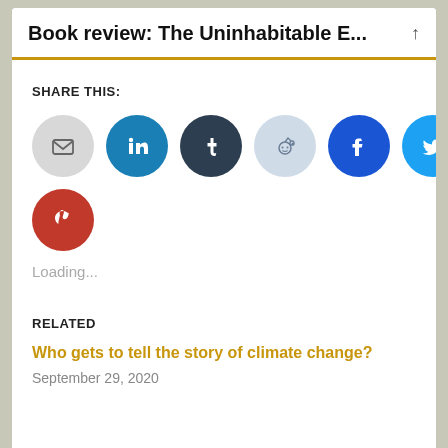Book review: The Uninhabitable E...
SHARE THIS:
[Figure (infographic): Row of social share buttons: Email (gray circle), LinkedIn (blue circle), Tumblr (dark navy circle), Reddit (light blue circle), Facebook (blue circle), Twitter (light blue circle). Second row: Pinterest (red circle).]
Loading...
RELATED
Who gets to tell the story of climate change?
September 29, 2020